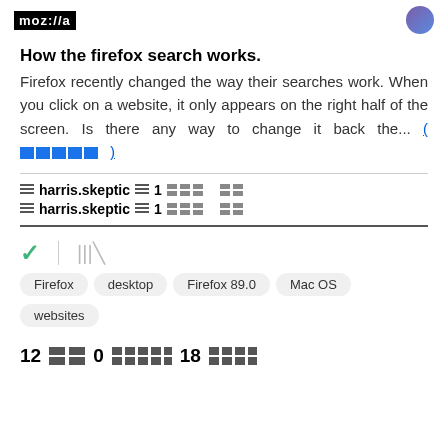mozilla | [avatar]
How the firefox search works.
Firefox recently changed the way their searches work. When you click on a website, it only appears on the right half of the screen. Is there any way to change it back the... (more)
harris.skeptic  1  [redacted]
harris.skeptic  1  [redacted]
[Figure (screenshot): Check mark and library icon row]
Firefox  desktop  Firefox 89.0  Mac OS  websites
12 [icon] 0 [icon] 18 [icon]